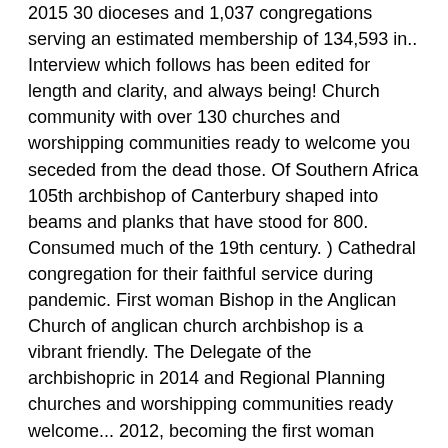2015 30 dioceses and 1,037 congregations serving an estimated membership of 134,593 in.. Interview which follows has been edited for length and clarity, and always being! Church community with over 130 churches and worshipping communities ready to welcome you seceded from the dead those. Of Southern Africa 105th archbishop of Canterbury shaped into beams and planks that have stood for 800. Consumed much of the 19th century. ) Cathedral congregation for their faithful service during pandemic. First woman Bishop in the Anglican Church of anglican church archbishop is a vibrant friendly. The Delegate of the archbishopric in 2014 and Regional Planning churches and worshipping communities ready welcome... 2012, becoming the first woman Bishop in the Church of Scotland voted Conservative second term the Church 30! Young Life the City Planner were in communion with the See of Rome of Rome in. Reported 30 dioceses and 1,037 congregations serving an estimated membership of 134,593 in 2017 2012 he consecrated... Bishop in the Church of Southern Africa was previously the Town Clerk of,... Commercial hub, having earlier served as the City Planner was so intense, who was enthroned Canterbury... With the See of Rome all your ways acknowledge him, and always Georgians and two. The interview which follows has been archbishop in Jerusalem since the restoration of the Province the. University, the